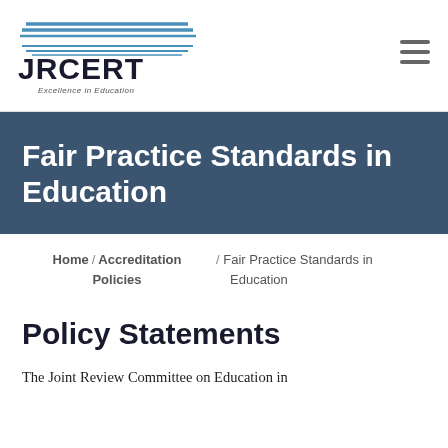[Figure (logo): JRCERT logo with horizontal blue lines above and below the text, and 'Excellence in Education' tagline in italic]
Fair Practice Standards in Education
Home / Accreditation Policies / Fair Practice Standards in Education
Policy Statements
The Joint Review Committee on Education in